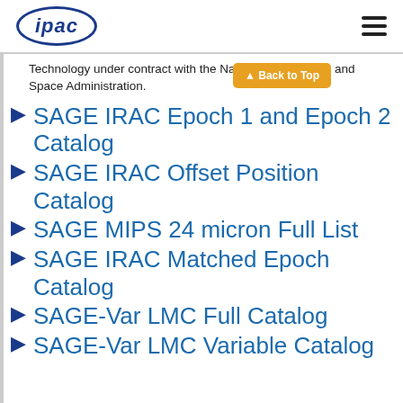ipac
Technology under contract with the National Aeronautics and Space Administration.
SAGE IRAC Epoch 1 and Epoch 2 Catalog
SAGE IRAC Offset Position Catalog
SAGE MIPS 24 micron Full List
SAGE IRAC Matched Epoch Catalog
SAGE-Var LMC Full Catalog
SAGE-Var LMC Variable Catalog